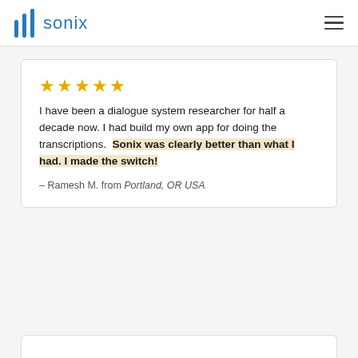sonix
I have been a dialogue system researcher for half a decade now. I had build my own app for doing the transcriptions. Sonix was clearly better than what I had. I made the switch!
— Ramesh M. from Portland, OR USA